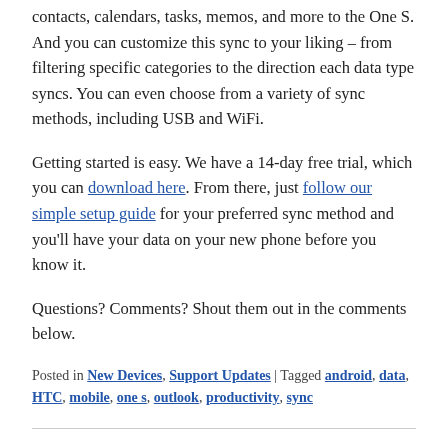CompanionLink lets you sync your Outlook contacts, calendars, tasks, memos, and more to the One S. And you can customize this sync to your liking – from filtering specific categories to the direction each data type syncs. You can even choose from a variety of sync methods, including USB and WiFi.
Getting started is easy. We have a 14-day free trial, which you can download here. From there, just follow our simple setup guide for your preferred sync method and you'll have your data on your new phone before you know it.
Questions? Comments? Shout them out in the comments below.
Posted in New Devices, Support Updates | Tagged android, data, HTC, mobile, one s, outlook, productivity, sync